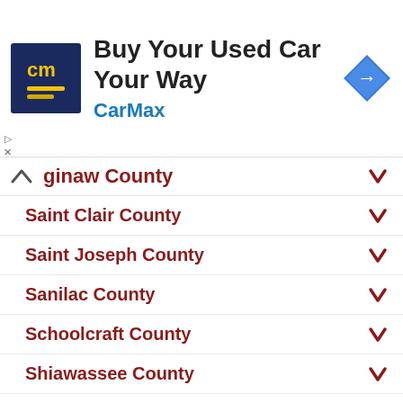[Figure (screenshot): CarMax advertisement banner with logo, headline 'Buy Your Used Car Your Way', brand name 'CarMax' in blue, and navigation arrow icon]
ginaw County (Saginaw County - expanded, with up chevron)
Saint Clair County
Saint Joseph County
Sanilac County
Schoolcraft County
Shiawassee County
Tuscola County
Van Buren County
Washtenaw County
Wayne County